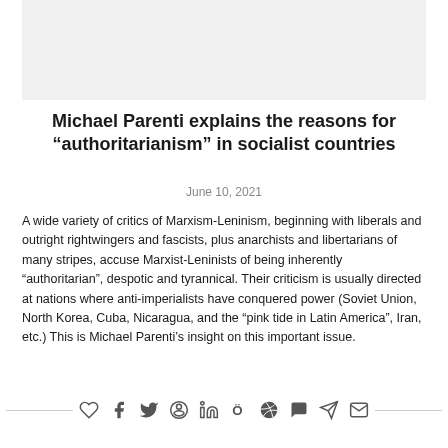[Figure (photo): Gray placeholder image area at top of page]
Michael Parenti explains the reasons for “authoritarianism” in socialist countries
June 10, 2021
A wide variety of critics of Marxism-Leninism, beginning with liberals and outright rightwingers and fascists, plus anarchists and libertarians of many stripes, accuse Marxist-Leninists of being inherently “authoritarian”, despotic and tyrannical. Their criticism is usually directed at nations where anti-imperialists have conquered power (Soviet Union, North Korea, Cuba, Nicaragua, and the “pink tide in Latin America”, Iran, etc.) This is Michael Parenti’s insight on this important issue.
READ MORE »